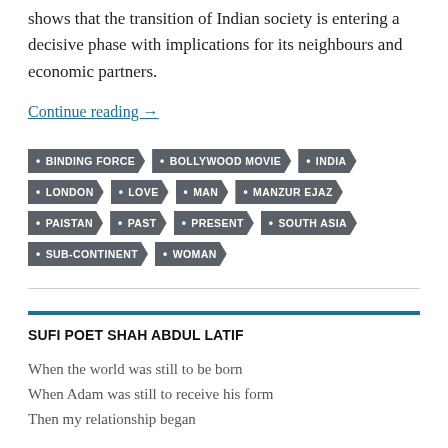shows that the transition of Indian society is entering a decisive phase with implications for its neighbours and economic partners.
Continue reading →
BINDING FORCE
BOLLYWOOD MOVIE
INDIA
LONDON
LOVE
MAN
MANZUR EJAZ
PAISTAN
PAST
PRESENT
SOUTH ASIA
SUB-CONTINENT
WOMAN
SUFI POET SHAH ABDUL LATIF
When the world was still to be born
When Adam was still to receive his form
Then my relationship began